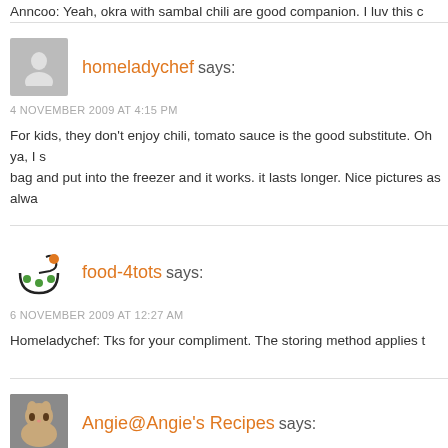Anncoo: Yeah, okra with sambal chili are good companion. I luv this c…
homeladychef says:
4 NOVEMBER 2009 AT 4:15 PM
For kids, they don't enjoy chili, tomato sauce is the good substitute. Oh ya, I s… bag and put into the freezer and it works. it lasts longer. Nice pictures as alwa…
food-4tots says:
6 NOVEMBER 2009 AT 12:27 AM
Homeladychef: Tks for your compliment. The storing method applies t…
Angie@Angie's Recipes says: